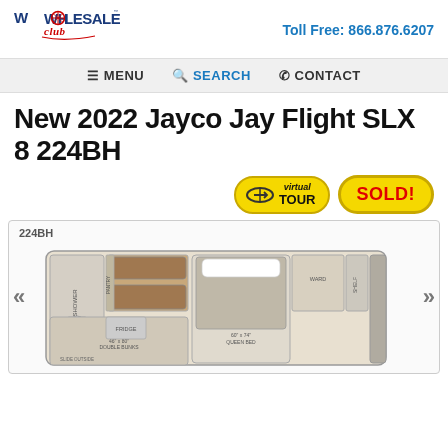[Figure (logo): Wholesale Club RV dealer logo — red/blue text with stylized wheel graphic]
Toll Free: 866.876.6207
≡ MENU   🔍 SEARCH   📞 CONTACT
New 2022 Jayco Jay Flight SLX 8 224BH
[Figure (other): Virtual Tour button — yellow pill-shaped button with arrows and 'virtual TOUR' text]
[Figure (other): SOLD! button — yellow pill-shaped button with red bold SOLD! text]
[Figure (schematic): RV floorplan schematic for Jayco Jay Flight SLX 8 224BH — shows shower, double bunks 46x80, dinette, sofa, queen bed 60x74, wardrobe, slide, outdoor kitchen, fridge. Label: 224BH]